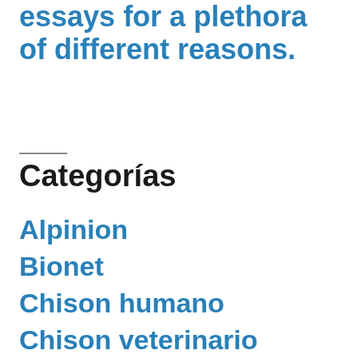essays for a plethora of different reasons.
Categorías
Alpinion
Bionet
Chison humano
Chison veterinario
Comen